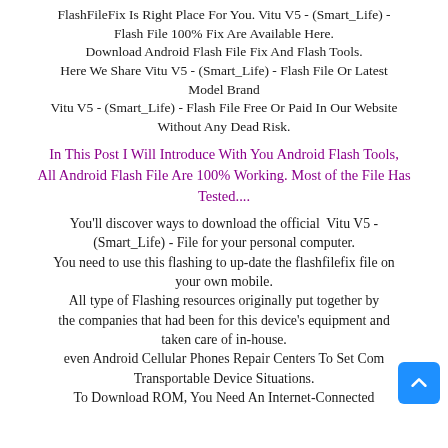FlashFileFix Is Right Place For You. Vitu V5 - (Smart_Life) - Flash File 100% Fix Are Available Here. Download Android Flash File Fix And Flash Tools. Here We Share Vitu V5 - (Smart_Life) - Flash File Or Latest Model Brand Vitu V5 - (Smart_Life) - Flash File Free Or Paid In Our Website Without Any Dead Risk.
In This Post I Will Introduce With You Android Flash Tools, All Android Flash File Are 100% Working. Most of the File Has Tested....
You'll discover ways to download the official  Vitu V5 - (Smart_Life) - File for your personal computer. You need to use this flashing to up-date the flashfilefix file on your own mobile. All type of Flashing resources originally put together by the companies that had been for this device's equipment and taken care of in-house. even Android Cellular Phones Repair Centers To Set Com Transportable Device Situations. To Download ROM, You Need An Internet-Connected